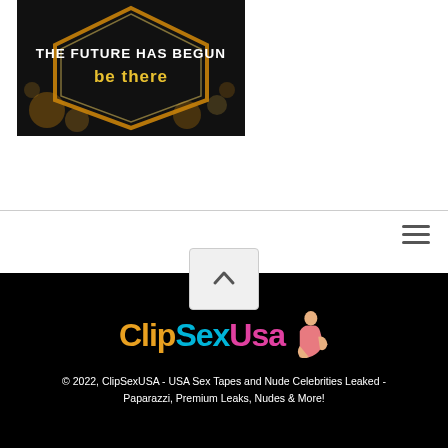[Figure (illustration): Dark hexagonal event banner with gold glowing border. Text reads 'THE FUTURE HAS BEGUN' in white bold letters and 'be there' in gold/yellow below. Background has bokeh gold light effects.]
[Figure (logo): ClipSexUsa logo with 'Clip' in orange/gold, 'Sex' in cyan, 'Usa' in pink/magenta, and a small illustrated figure of a woman to the right.]
© 2022, ClipSexUSA - USA Sex Tapes and Nude Celebrities Leaked - Paparazzi, Premium Leaks, Nudes & More!